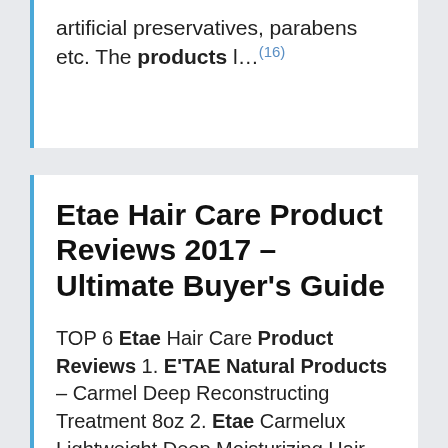artificial preservatives, parabens etc. The products l…(16)
Etae Hair Care Product Reviews 2017 – Ultimate Buyer's Guide
TOP 6 Etae Hair Care Product Reviews 1. E'TAE Natural Products – Carmel Deep Reconstructing Treatment 8oz 2. Etae Carmelux Lightweight Deep Moisturizing Hair Gloss 3. ETAE Carmelux Deep Penetrating Treatment Shampoo 4. ETAE